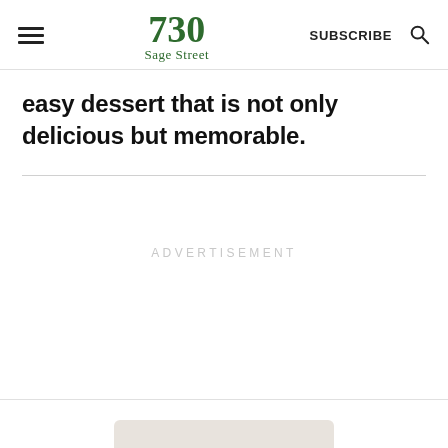730 Sage Street — SUBSCRIBE
easy dessert that is not only delicious but memorable.
ADVERTISEMENT